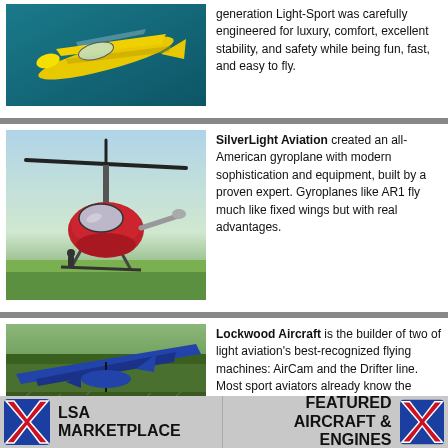[Figure (photo): Yellow light sport aircraft in flight against teal sky background]
generation Light-Sport was carefully engineered for luxury, comfort, excellent stability, and safety while being fun, fast, and easy to fly.
[Figure (photo): Red gyroplane (autogyro) on grass airfield with rotor blades visible]
SilverLight Aviation created an all-American gyroplane with modern sophistication and equipment, built by a proven expert. Gyroplanes like AR1 fly much like fixed wings but with real advantages.
[Figure (photo): Blue ultralight aircraft on a grassy field with trees in background]
Lockwood Aircraft is the builder of two of light aviation's best-recognized flying machines: AirCam and the Drifter line. Most sport aviators already know the Lockwood brand, a leader in
[Figure (logo): LSA Marketplace logo with red X on blue background]
[Figure (logo): Featured Aircraft & Engines logo with red X on blue background]